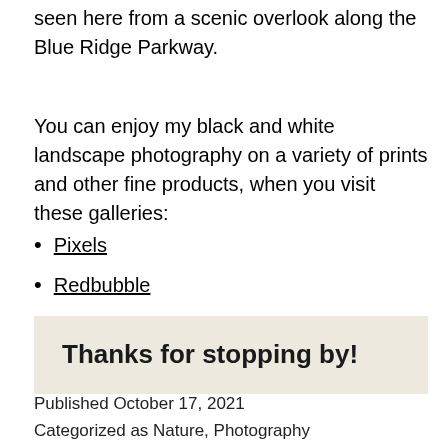seen here from a scenic overlook along the Blue Ridge Parkway.
You can enjoy my black and white landscape photography on a variety of prints and other fine products, when you visit these galleries:
Pixels
Redbubble
Thanks for stopping by!
Published October 17, 2021
Categorized as Nature, Photography